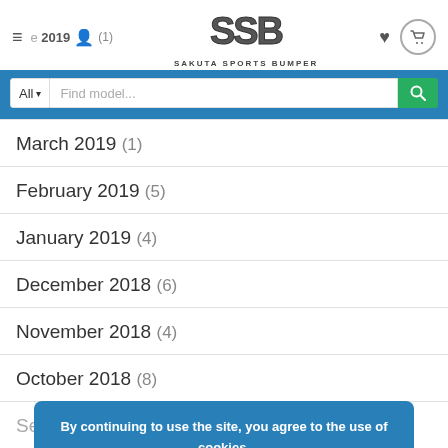SSB SAKUTA SPORTS BUMPER
March 2019 (1)
February 2019 (5)
January 2019 (4)
December 2018 (6)
November 2018 (4)
October 2018 (8)
September 2018 (?)
August 2018 (11)
By continuing to use the site, you agree to the use of cookies. more information ACCEPT